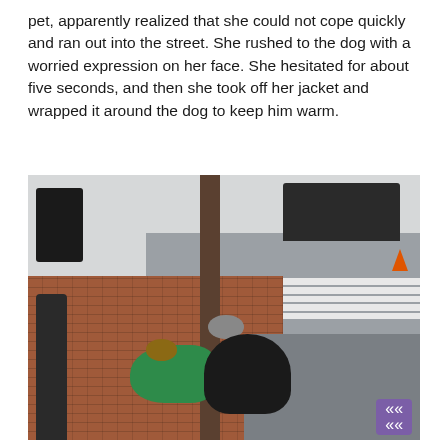pet, apparently realized that she could not cope quickly and ran out into the street. She rushed to the dog with a worried expression on her face. She hesitated for about five seconds, and then she took off her jacket and wrapped it around the dog to keep him warm.
[Figure (photo): A woman crouching next to a dog at the base of a street tree on a brick sidewalk. The dog is wrapped in a green puffer jacket. There is a black lamppost base on the left, a dark SUV and traffic cone in the background on the road, and a pedestrian crosswalk visible. A purple scroll-up button appears in the bottom right corner.]